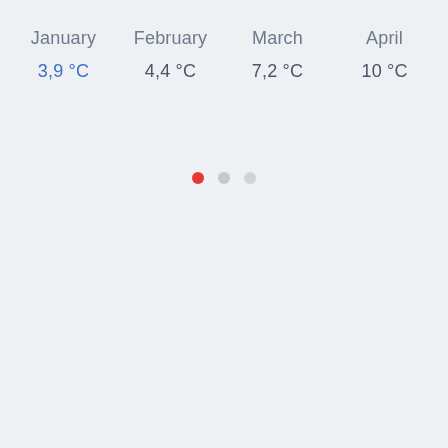January
3,9 °C
February
4,4 °C
March
7,2 °C
April
10 °C
[Figure (infographic): Three pagination dots: one red (active), two grey (inactive)]